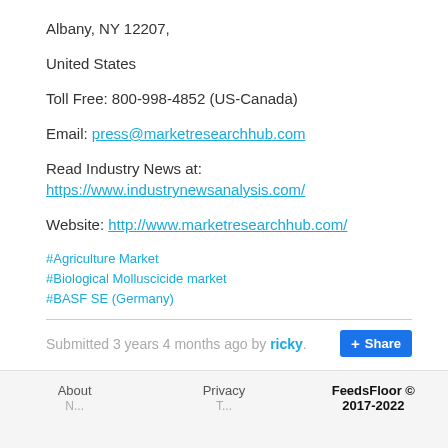Albany, NY 12207,
United States
Toll Free: 800-998-4852 (US-Canada)
Email: press@marketresearchhub.com
Read Industry News at: https://www.industrynewsanalysis.com/
Website: http://www.marketresearchhub.com/
#Agriculture Market
#Biological Molluscicide market
#BASF SE (Germany)
Submitted 3 years 4 months ago by ricky.
About   Privacy   FeedsFloor © 2017-2022